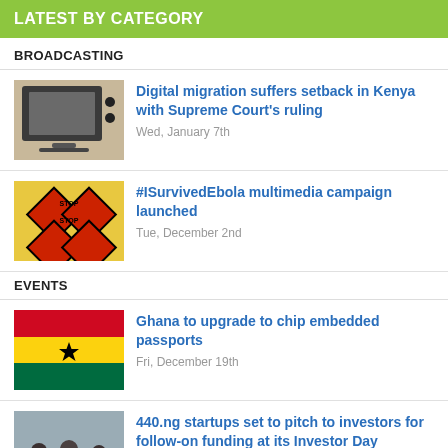LATEST BY CATEGORY
BROADCASTING
[Figure (photo): Old CRT television set on a patterned background]
Digital migration suffers setback in Kenya with Supreme Court's ruling
Wed, January 7th
[Figure (photo): Warning/caution tape signs with STOP text, yellow background - Ebola awareness imagery]
#ISurvivedEbola multimedia campaign launched
Tue, December 2nd
EVENTS
[Figure (photo): Ghana national flag - red, gold, green horizontal stripes with black star]
Ghana to upgrade to chip embedded passports
Fri, December 19th
[Figure (photo): People in a meeting room or office setting]
440.ng startups set to pitch to investors for follow-on funding at its Investor Day
Wed, December 10th